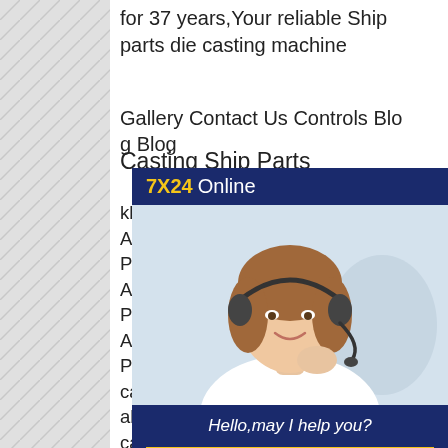for 37 years,Your reliable Ship parts die casting machine
Gallery Contact Us Controls Blog Ping
Casting Ship Parts
kbmetalchinaCustomized Aluminum Die Casting Boat PartskbmetalchinaCustomized Aluminum Die Casting Boat PartskbmetalchinaCustomized Aluminum Die Casting Boat Partsanydiecast boat aluminum casting parts outboard engine aluminum die castingkbmetalchinaCustomized Aluminum Die Casting Boat Parts images Tiffin Foundry & MachineTiffin Foundry & Machine is your international supplier of shot-end replacement parts for all zinc die
[Figure (infographic): Customer service chat widget showing '7X24 Online' header in navy/yellow, photo of smiling woman with headset, 'Hello,may I help you?' text, and 'Get Latest Price' yellow button]